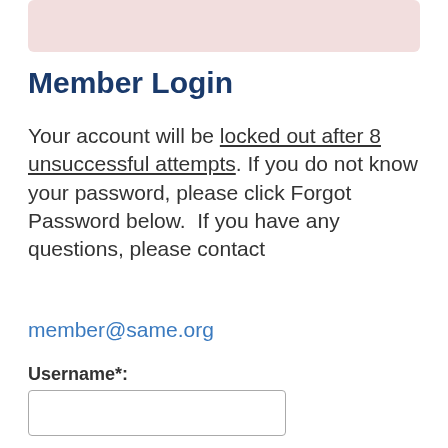[Figure (other): Pink/rose colored banner bar at the top of the page]
Member Login
Your account will be locked out after 8 unsuccessful attempts. If you do not know your password, please click Forgot Password below.  If you have any questions, please contact member@same.org
Username*:
Password: